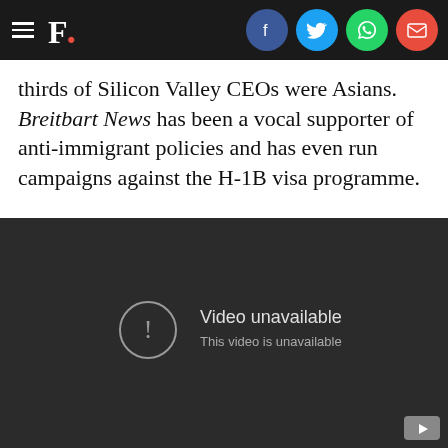F. [social share icons: Facebook, Twitter, WhatsApp, Email]
thirds of Silicon Valley CEOs were Asians. Breitbart News has been a vocal supporter of anti-immigrant policies and has even run campaigns against the H-1B visa programme.
[Figure (screenshot): Embedded YouTube video player showing 'Video unavailable — This video is unavailable' error message on a dark background, with YouTube logo in the bottom right corner.]